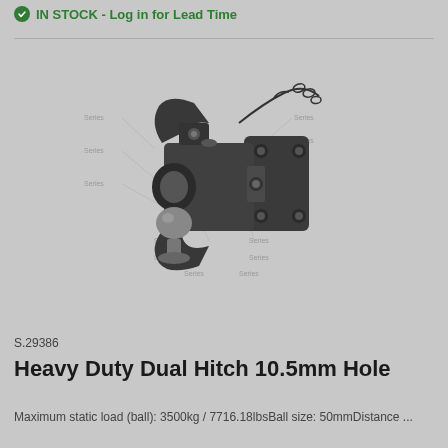IN STOCK - Log in for Lead Time
[Figure (engineering-diagram): Technical diagram of a Heavy Duty Dual Hitch 10.5mm Hole coupling device, shown in grayscale with dimension callout lines indicating various measurements and features of the hitch assembly including a ball socket, locking mechanism, and mounting plate.]
S.29386
Heavy Duty Dual Hitch 10.5mm Hole
Maximum static load (ball): 3500kg / 7716.18lbsBall size: 50mmDistance ...